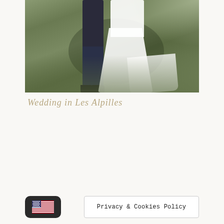[Figure (photo): Wedding photo showing couple outdoors on grass. Groom in dark navy suit with black shoes on the left, bride in flowing white dress with train on the right. Green lawn background with dappled sunlight.]
Wedding in Les Alpilles
[Figure (other): US flag emoji button (dark rounded rectangle with American flag)]
Privacy & Cookies Policy